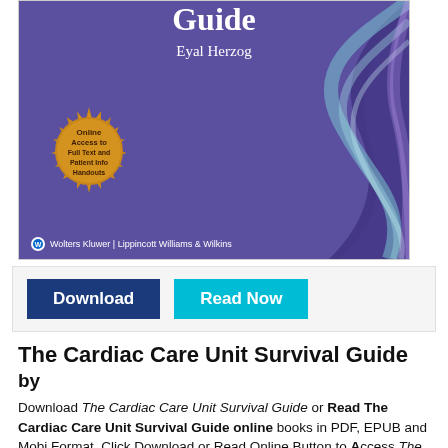[Figure (photo): Book cover of The Cardiac Care Unit Survival Guide by Eyal Herzog, published by Wolters Kluwer Lippincott Williams & Wilkins. Purple background with swirling abstract design on the right side and a gold badge reading 'Online Access to Full Text and Patient Info Handouts'.]
Download  Read Now
The Cardiac Care Unit Survival Guide
by
Download The Cardiac Care Unit Survival Guide or Read The Cardiac Care Unit Survival Guide online books in PDF, EPUB and Mobi Format. Click Download or Read Online Button to Access The Cardiac Care Unit Survie